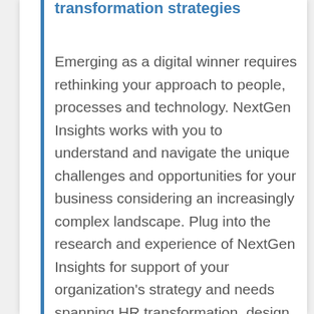transformation strategies
Emerging as a digital winner requires rethinking your approach to people, processes and technology. NextGen Insights works with you to understand and navigate the unique challenges and opportunities for your business considering an increasingly complex landscape. Plug into the research and experience of NextGen Insights for support of your organization's strategy and needs spanning HR transformation, design thinking